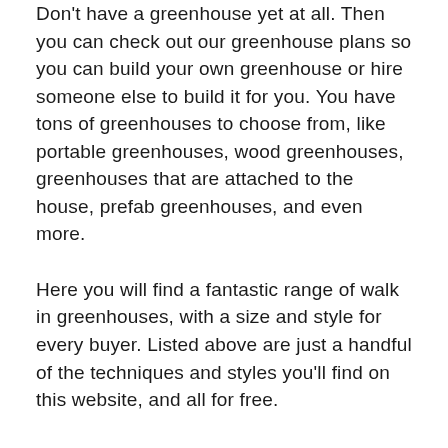Don't have a greenhouse yet at all. Then you can check out our greenhouse plans so you can build your own greenhouse or hire someone else to build it for you. You have tons of greenhouses to choose from, like portable greenhouses, wood greenhouses, greenhouses that are attached to the house, prefab greenhouses, and even more.
Here you will find a fantastic range of walk in greenhouses, with a size and style for every buyer. Listed above are just a handful of the techniques and styles you'll find on this website, and all for free.
GREENHOUSES PROTECT YOUR PLANTS